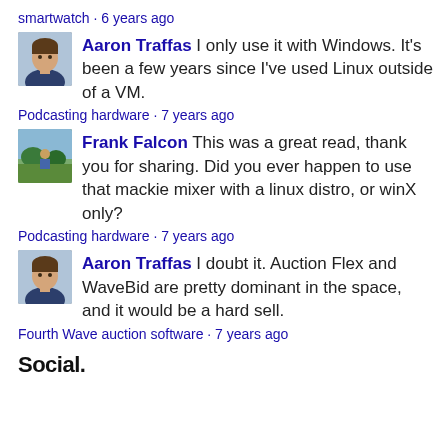smartwatch · 6 years ago
Aaron Traffas I only use it with Windows. It's been a few years since I've used Linux outside of a VM.
Podcasting hardware · 7 years ago
Frank Falcon This was a great read, thank you for sharing. Did you ever happen to use that mackie mixer with a linux distro, or winX only?
Podcasting hardware · 7 years ago
Aaron Traffas I doubt it. Auction Flex and WaveBid are pretty dominant in the space, and it would be a hard sell.
Fourth Wave auction software · 7 years ago
Social.